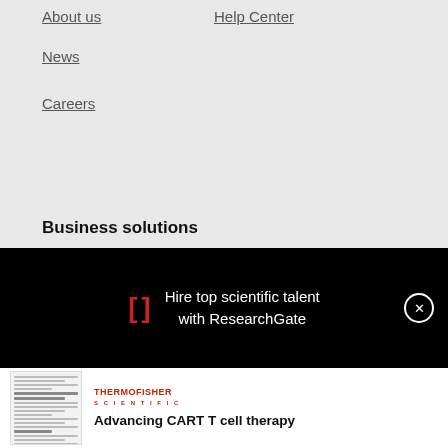About us
Help Center
News
Careers
Business solutions
[Figure (screenshot): Black promotional banner overlay with ResearchGate bracket logo icon in red, white text reading 'Hire top scientific talent with ResearchGate', and a circular close button]
[Figure (other): Thumbnail image of a document page with text lines]
Advancing CART T cell therapy